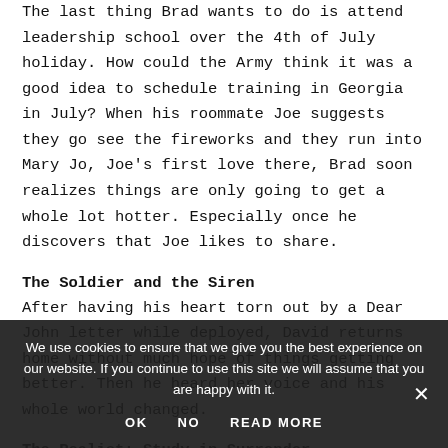The last thing Brad wants to do is attend leadership school over the 4th of July holiday. How could the Army think it was a good idea to schedule training in Georgia in July? When his roommate Joe suggests they go see the fireworks and they run into Mary Jo, Joe's first love there, Brad soon realizes things are only going to get a whole lot hotter. Especially once he discovers that Joe likes to share.
The Soldier and the Siren
After having his heart torn out by a Dear John letter while deployed, David returns home without much hope of things getting better. Then he heard her voice and his whole world changed.
The Realist: Study in Surrender (partially visible)
We use cookies to ensure that we give you the best experience on our website. If you continue to use this site we will assume that you are happy with it.